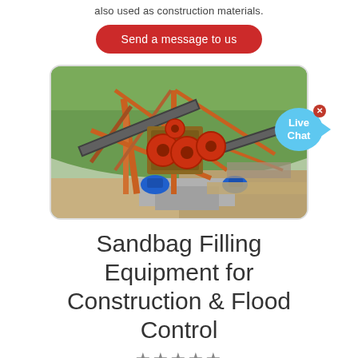also used as construction materials.
Send a message to us
[Figure (photo): Industrial stone crushing equipment with conveyor belts, orange steel frame structure, and blue electric motors, mounted on concrete foundation in an outdoor construction/quarry site with green hillside in background. A Live Chat bubble overlay is visible in the top-right area of the image.]
Sandbag Filling Equipment for Construction & Flood Control
★★★★★